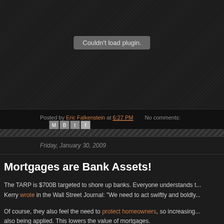[Figure (other): Dark embedded media plugin area showing 'Couldn't load plugin.' error message on dark background]
Posted by Eric Falkenstein at 6:27 PM   No comments:
Friday, January 30, 2009
Mortgages are Bank Assets!
The TARP is $700B targeted to shore up banks. Everyone understands t... Kerry wrote in the Wall Street Journal: "We need to act swiftly and boldly...
Of course, they also feel the need to protect homeowners, so increasing... also being applied. This lowers the value of mortgages.